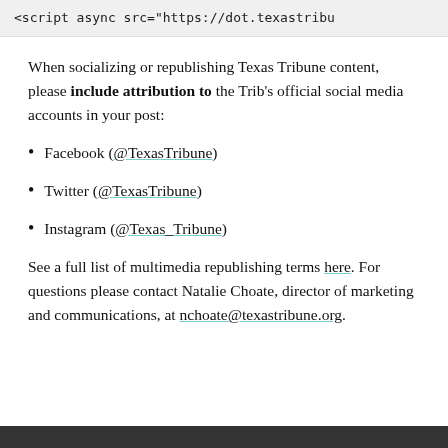<script async src="https://dot.texastribu
When socializing or republishing Texas Tribune content, please include attribution to the Trib's official social media accounts in your post:
Facebook (@TexasTribune)
Twitter (@TexasTribune)
Instagram (@Texas_Tribune)
See a full list of multimedia republishing terms here. For questions please contact Natalie Choate, director of marketing and communications, at nchoate@texastribune.org.